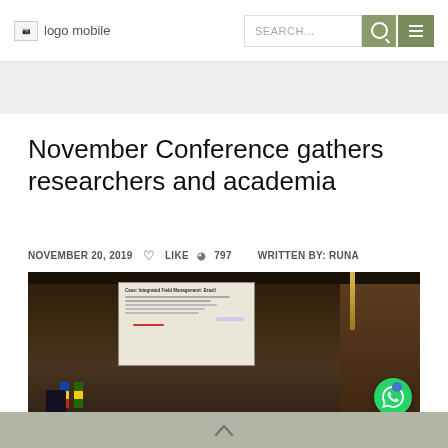logo mobile  SEARCH...
November Conference gathers researchers and academia
NOVEMBER 20, 2019  LIKE  797  WRITTEN BY: RUNA
[Figure (photo): Conference room with a presenter at a podium, a large projection screen showing a presentation slide, flags in the background, wooden paneled walls, and a WhatsApp button overlay in the bottom right corner.]